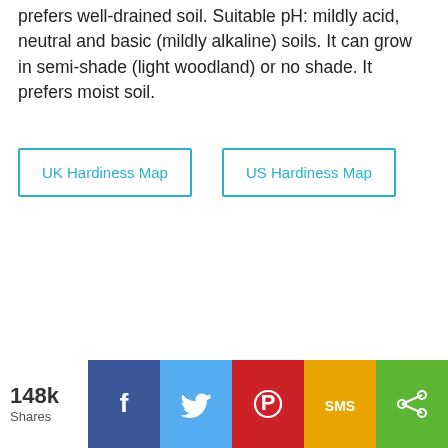prefers well-drained soil. Suitable pH: mildly acid, neutral and basic (mildly alkaline) soils. It can grow in semi-shade (light woodland) or no shade. It prefers moist soil.
UK Hardiness Map
US Hardiness Map
148k Shares | Facebook | Twitter | Pinterest | SMS | Share